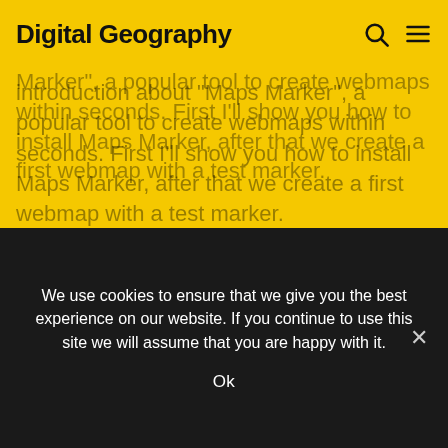Digital Geography
You can use a plugin. In this article I'll give you a short introduction about "Maps Marker", a popular tool to create webmaps within seconds. First I'll show you how to install Maps Marker, after that we create a first webmap with a test marker.
1. Install Maps Marker plugin
Installing the Maps Marker plugin is really easy. Just go to your wordpress admin area, choose plugins, search for "Maps Marker" and hit the install button…
We use cookies to ensure that we give you the best experience on our website. If you continue to use this site we will assume that you are happy with it.

Ok